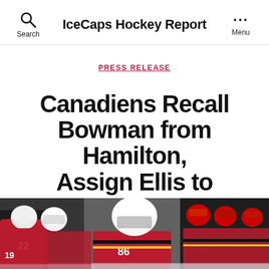IceCaps Hockey Report
PRESS RELEASE
Canadiens Recall Bowman from Hamilton, Assign Ellis to Wheeling
By Rick Stephens   November 8, 2014
0 Comments
[Figure (photo): Hockey players in red and black uniforms on an ice rink bench area, one player wearing a white helmet with number 86 visible]